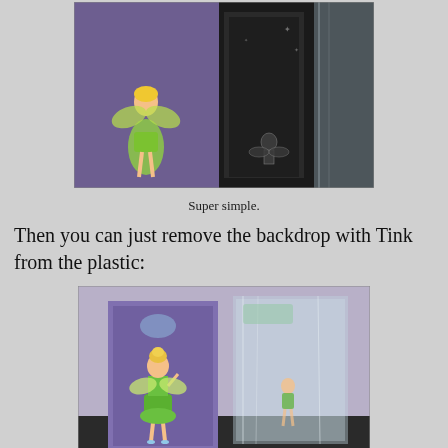[Figure (photo): Tinkerbell doll shown next to open black packaging/box with plastic casing visible on the right side]
Super simple.
Then you can just remove the backdrop with Tink from the plastic:
[Figure (photo): Tinkerbell doll standing next to purple backdrop card, separated from clear plastic packaging/clam shell on the right]